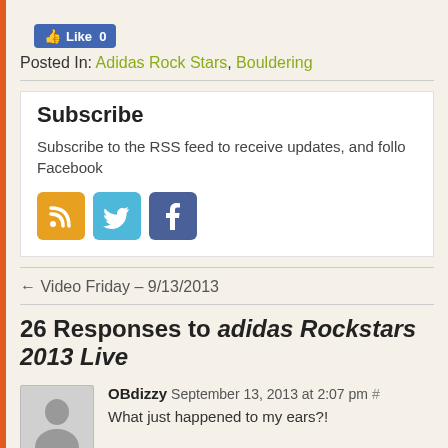[Figure (other): Facebook Like button showing 0 likes]
Posted In: Adidas Rock Stars, Bouldering
Subscribe
Subscribe to the RSS feed to receive updates, and follow on Facebook
[Figure (other): Social media icons: RSS, Twitter, Facebook]
← Video Friday – 9/13/2013
26 Responses to adidas Rockstars 2013 Live
OBdizzy September 13, 2013 at 2:07 pm # What just happened to my ears?!